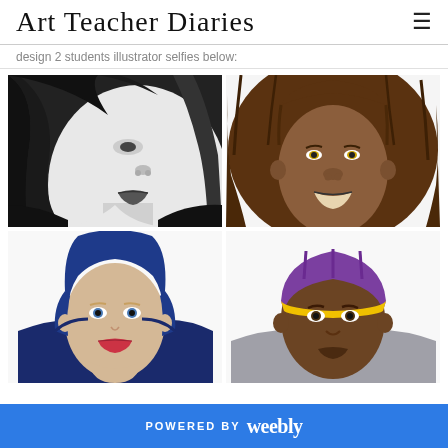Art Teacher Diaries
design 2 students illustrator selfies below:
[Figure (illustration): Four student illustrator selfie drawings arranged in a 2x2 grid: top-left is a black-and-white close-up of a girl's face with dark hair and lips; top-right is a girl with voluminous brown hair and dark skin smiling; bottom-left is a person with blue hair and blue eyes wearing a blue hoodie; bottom-right is a person with dark skin wearing a purple and yellow beanie and grey hoodie.]
POWERED BY weebly